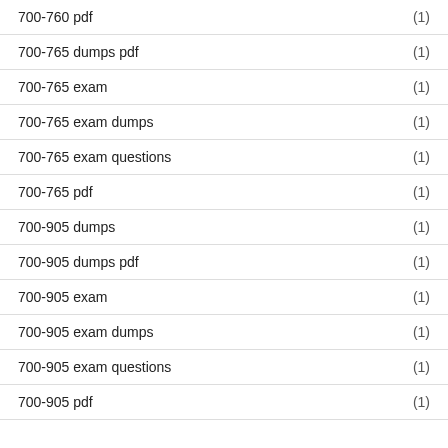700-760 pdf (1)
700-765 dumps pdf (1)
700-765 exam (1)
700-765 exam dumps (1)
700-765 exam questions (1)
700-765 pdf (1)
700-905 dumps (1)
700-905 dumps pdf (1)
700-905 exam (1)
700-905 exam dumps (1)
700-905 exam questions (1)
700-905 pdf (1)